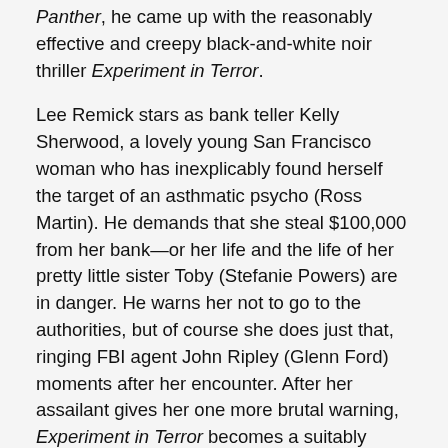Panther, he came up with the reasonably effective and creepy black-and-white noir thriller Experiment in Terror.
Lee Remick stars as bank teller Kelly Sherwood, a lovely young San Francisco woman who has inexplicably found herself the target of an asthmatic psycho (Ross Martin). He demands that she steal $100,000 from her bank—or her life and the life of her pretty little sister Toby (Stefanie Powers) are in danger. He warns her not to go to the authorities, but of course she does just that, ringing FBI agent John Ripley (Glenn Ford) moments after her encounter. After her assailant gives her one more brutal warning, Experiment in Terror becomes a suitably suspenseful cat-and-mouse game between a careful FBI office, a clever madman, and a couple of California hotties in peril.
I was impressed by this film's duality. On one hand, it's a somewhat sleazy and exploitative mystery about nubile young women as prey. Remick and Powers are both gorgeous, and they both seem to have fun with their roles as damsels in distress. But on the other hand, these women aren't helpless screamers in the face of slimy, violent men. The women